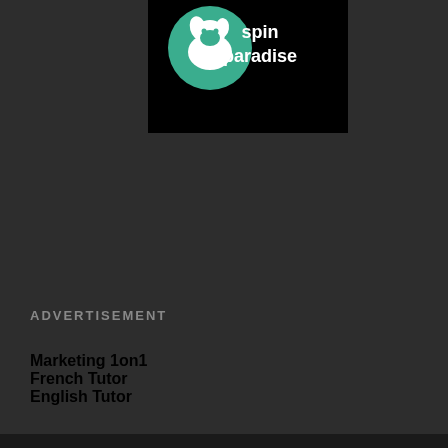[Figure (logo): Spin Paradise logo — white dog silhouette on a teal/green circle, with white text 'spin paradise' on a black background]
ADVERTISEMENT
Marketing 1on1
French Tutor
English Tutor